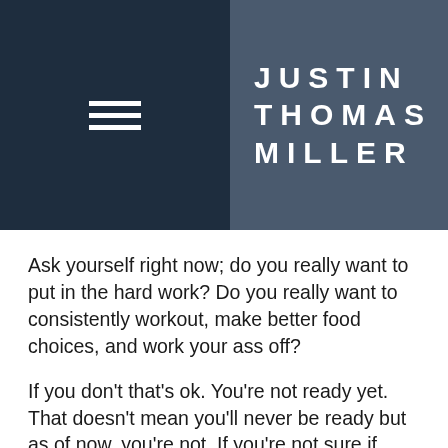JUSTIN THOMAS MILLER
Ask yourself right now; do you really want to put in the hard work? Do you really want to consistently workout, make better food choices, and work your ass off?
If you don't that's ok. You're not ready yet. That doesn't mean you'll never be ready but as of now, you're not. If you're not sure if you're ready this may help a bit.
THE 5 WHYS
Here's an exercise that I'd like you to take part in right now. RIGHT NOW means do not read on – do